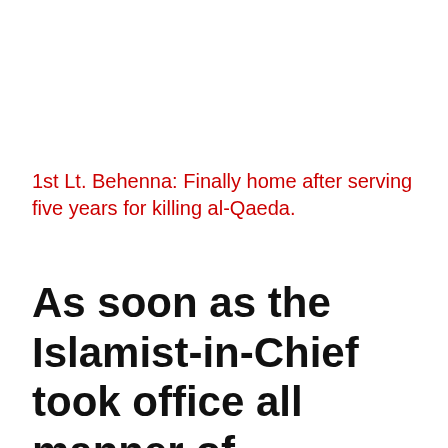1st Lt. Behenna: Finally home after serving five years for killing al-Qaeda.
As soon as the Islamist-in-Chief took office all manner of treachery ensued. But none of his behavior is